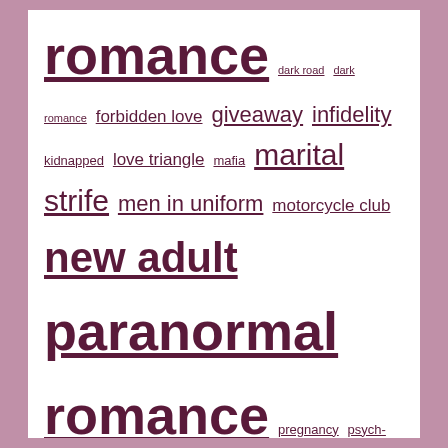romance dark road dark romance forbidden love giveaway infidelity kidnapped love triangle mafia marital strife men in uniform motorcycle club new adult paranormal romance pregnancy psych-thriller psychological thriller reader favorites reader question reader recommendations rock stars second chance romance shifters solved sports stars super-angsty unrequited love unsolved urban fantasy vampires YA
CATEGORIES
Adrian Phoenix